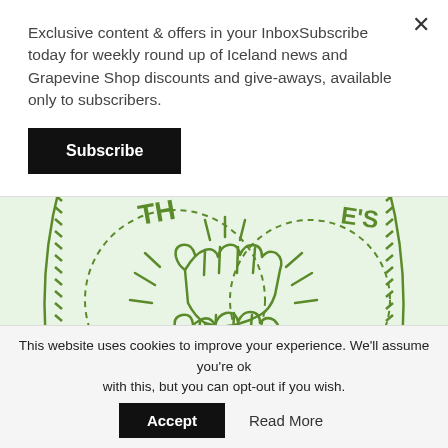Exclusive content & offers in your InboxSubscribe today for weekly round up of Iceland news and Grapevine Shop discounts and give-aways, available only to subscribers.
Subscribe
[Figure (illustration): Green line illustration of two hands giving a high five, with radiating lines suggesting impact, set against a light green/mint background with circular dashed borders and partial text/stitching pattern around edges.]
The High Five
This website uses cookies to improve your experience. We'll assume you're ok with this, but you can opt-out if you wish.
Accept
Read More